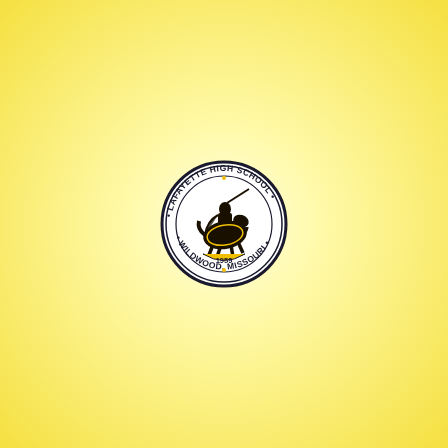[Figure (logo): Lafayette High School seal/logo. A circular emblem with outer ring text reading '• LAFAYETTE HIGH SCHOOL •' on top and '• WILDWOOD, MISSOURI •' on the bottom. Center shows a knight on horseback in dark navy/black and gold colors. A banner at the bottom of the inner circle reads '1959'.]